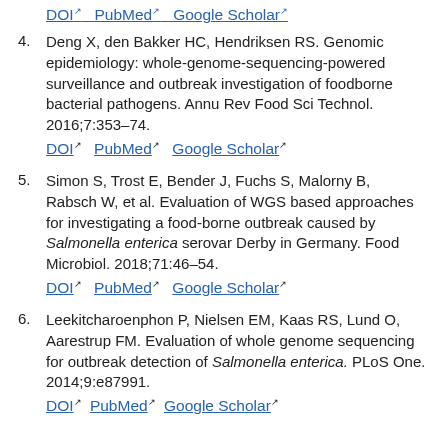4. Deng X, den Bakker HC, Hendriksen RS. Genomic epidemiology: whole-genome-sequencing-powered surveillance and outbreak investigation of foodborne bacterial pathogens. Annu Rev Food Sci Technol. 2016;7:353–74. DOI PubMed Google Scholar
5. Simon S, Trost E, Bender J, Fuchs S, Malorny B, Rabsch W, et al. Evaluation of WGS based approaches for investigating a food-borne outbreak caused by Salmonella enterica serovar Derby in Germany. Food Microbiol. 2018;71:46–54. DOI PubMed Google Scholar
6. Leekitcharoenphon P, Nielsen EM, Kaas RS, Lund O, Aarestrup FM. Evaluation of whole genome sequencing for outbreak detection of Salmonella enterica. PLoS One. 2014;9:e87991. DOI PubMed Google Scholar